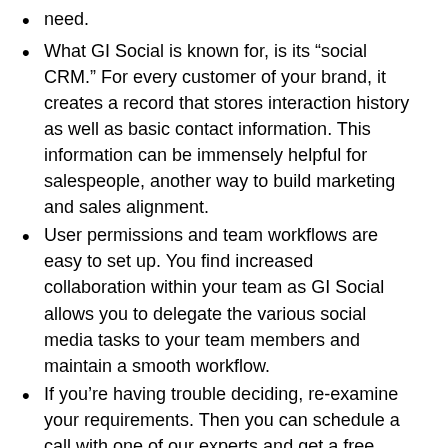need.
What GI Social is known for, is its “social CRM.” For every customer of your brand, it creates a record that stores interaction history as well as basic contact information. This information can be immensely helpful for salespeople, another way to build marketing and sales alignment.
User permissions and team workflows are easy to set up. You find increased collaboration within your team as GI Social allows you to delegate the various social media tasks to your team members and maintain a smooth workflow.
If you’re having trouble deciding, re-examine your requirements. Then you can schedule a call with one of our experts and get a free consultation and personalized product recommendation.